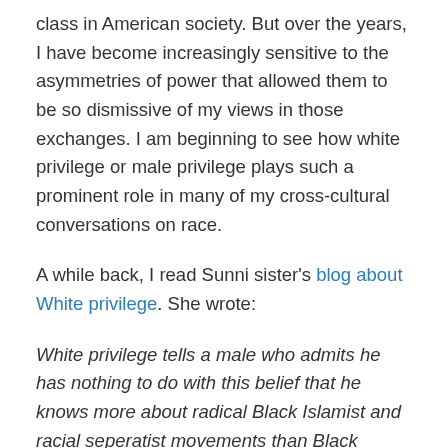class in American society. But over the years, I have become increasingly sensitive to the asymmetries of power that allowed them to be so dismissive of my views in those exchanges. I am beginning to see how white privilege or male privilege plays such a prominent role in many of my cross-cultural conversations on race.
A while back, I read Sunni sister's blog about White privilege. She wrote:
White privilege tells a male who admits he has nothing to do with this belief that he knows more about radical Black Islamist and racial seperatist movements than Black Muslims who follow a mainstream path of belief, who may have even come out of those movements themselves. And White privilege means that White male can tell Black people this. And he can call those Black people names